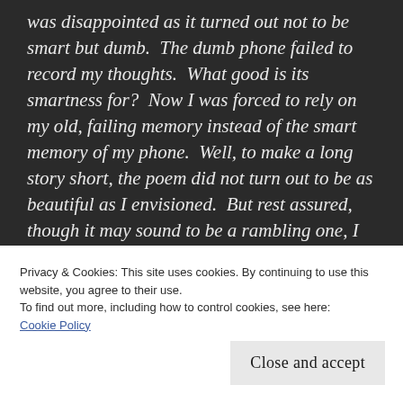was disappointed as it turned out not to be smart but dumb.  The dumb phone failed to record my thoughts.  What good is its smartness for?  Now I was forced to rely on my old, failing memory instead of the smart memory of my phone.  Well, to make a long story short, the poem did not turn out to be as beautiful as I envisioned.  But rest assured, though it may sound to be a rambling one, I did not have a single iota of malice in my mind towards anyone.  Not even to the one whose statue
Privacy & Cookies: This site uses cookies. By continuing to use this website, you agree to their use.
To find out more, including how to control cookies, see here:
Cookie Policy